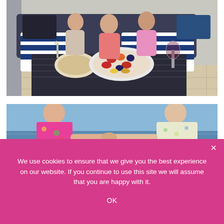[Figure (photo): Two children and an adult sitting on an outdoor sofa with blue and white striped cushions. A dark table in front has a plate of crackers and a large plate with fruit and charcuterie. Champagne flutes and a wine glass are on the table.]
[Figure (photo): Two young girls holding hands, one in a colorful pink floral top and another in a light floral dress. Ocean water visible in the background.]
We use cookies to ensure that we give you the best experience on our website. If you continue to use this site we will assume that you are happy with it.
OK